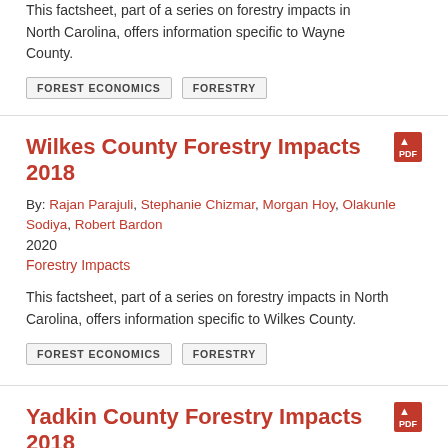This factsheet, part of a series on forestry impacts in North Carolina, offers information specific to Wayne County.
FOREST ECONOMICS
FORESTRY
Wilkes County Forestry Impacts 2018
By: Rajan Parajuli, Stephanie Chizmar, Morgan Hoy, Olakunle Sodiya, Robert Bardon
2020
Forestry Impacts
This factsheet, part of a series on forestry impacts in North Carolina, offers information specific to Wilkes County.
FOREST ECONOMICS
FORESTRY
Yadkin County Forestry Impacts 2018
By: Rajan Parajuli, Stephanie Chizmar, Morgan Hoy, Olakunle Sodiya, Robert Bardon